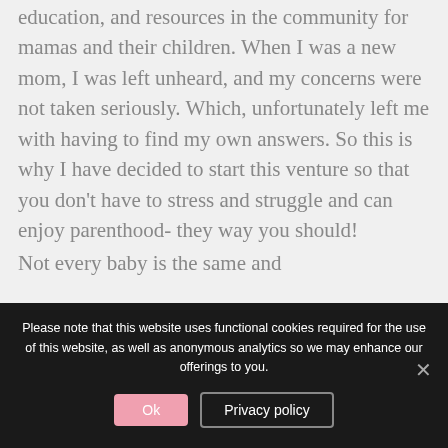education, and resources in the community for mamas and their children. When I was a new mom, I was left unheard, and my concerns were not taken seriously. Which, unfortunately left me with having to find my own answers. So this is why I have decided to start this venture so that you don't have to stress and struggle and can enjoy parenthood- they way you should!

Not every baby is the same and
Please note that this website uses functional cookies required for the use of this website, as well as anonymous analytics so we may enhance our offerings to you.
Ok
Privacy policy